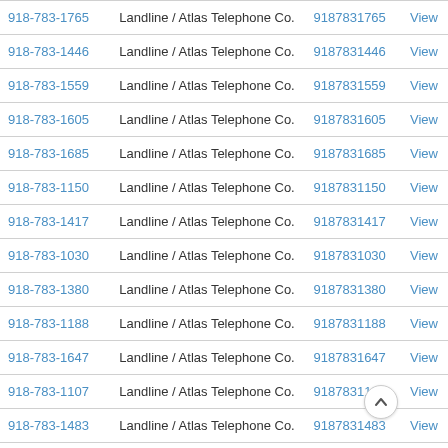| Phone | Type / Carrier | Raw Number | Action |
| --- | --- | --- | --- |
| 918-783-1765 | Landline / Atlas Telephone Co. | 9187831765 | View |
| 918-783-1446 | Landline / Atlas Telephone Co. | 9187831446 | View |
| 918-783-1559 | Landline / Atlas Telephone Co. | 9187831559 | View |
| 918-783-1605 | Landline / Atlas Telephone Co. | 9187831605 | View |
| 918-783-1685 | Landline / Atlas Telephone Co. | 9187831685 | View |
| 918-783-1150 | Landline / Atlas Telephone Co. | 9187831150 | View |
| 918-783-1417 | Landline / Atlas Telephone Co. | 9187831417 | View |
| 918-783-1030 | Landline / Atlas Telephone Co. | 9187831030 | View |
| 918-783-1380 | Landline / Atlas Telephone Co. | 9187831380 | View |
| 918-783-1188 | Landline / Atlas Telephone Co. | 9187831188 | View |
| 918-783-1647 | Landline / Atlas Telephone Co. | 9187831647 | View |
| 918-783-1107 | Landline / Atlas Telephone Co. | 9187831107 | View |
| 918-783-1483 | Landline / Atlas Telephone Co. | 9187831483 | View |
| 918-783-1777 | Landline / Atlas Telephone Co. | 9187831777 | View |
| 918-783-1463 | Landline / Atlas Telephone Co. | 9187831463 | View |
| 918-783-1838 | Landline / Atlas Telephone Co. | 9187831838 | View |
| 918-783-1856 | Landline / Atlas Telephone Co. | 9187831856 | View |
| 918-783-1612 | Landline / Atlas Telephone Co. | 9187831612 | View |